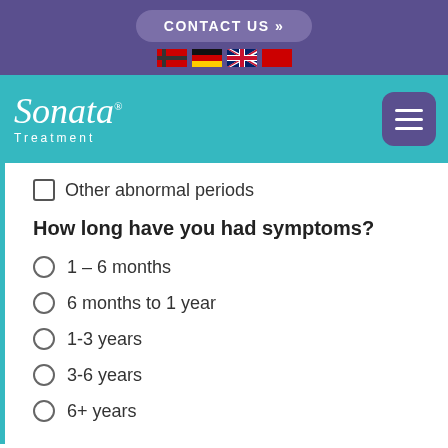CONTACT US »
[Figure (logo): Sonata Treatment logo with teal background and hamburger menu button]
Other abnormal periods
How long have you had symptoms?
1 – 6 months
6 months to 1 year
1-3 years
3-6 years
6+ years